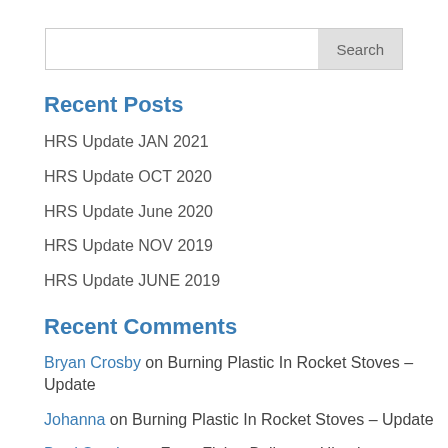Search
Recent Posts
HRS Update JAN 2021
HRS Update OCT 2020
HRS Update June 2020
HRS Update NOV 2019
HRS Update JUNE 2019
Recent Comments
Bryan Crosby on Burning Plastic In Rocket Stoves – Update
Johanna on Burning Plastic In Rocket Stoves – Update
Brad Sander on From Flying Bullets to Himalayan